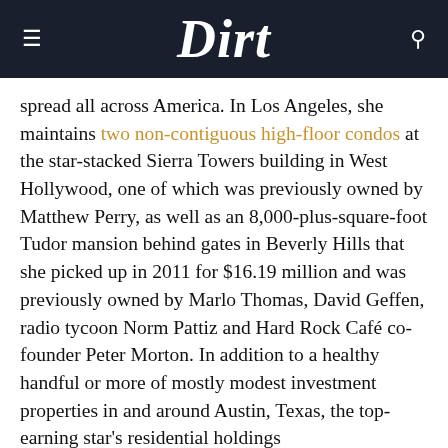Dirt
spread all across America. In Los Angeles, she maintains two non-contiguous high-floor condos at the star-stacked Sierra Towers building in West Hollywood, one of which was previously owned by Matthew Perry, as well as an 8,000-plus-square-foot Tudor mansion behind gates in Beverly Hills that she picked up in 2011 for $16.19 million and was previously owned by Marlo Thomas, David Geffen, radio tycoon Norm Pattiz and Hard Rock Café co-founder Peter Morton. In addition to a healthy handful or more of mostly modest investment properties in and around Austin, Texas, the top-earning star's residential holdings